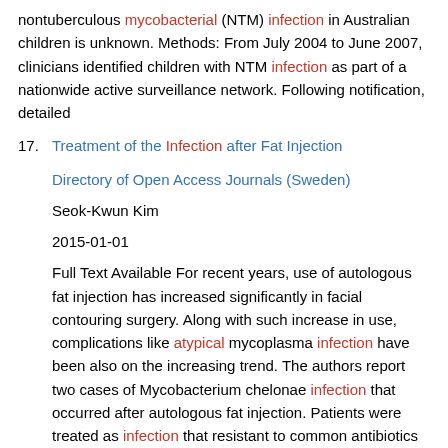nontuberculous mycobacterial (NTM) infection in Australian children is unknown. Methods: From July 2004 to June 2007, clinicians identified children with NTM infection as part of a nationwide active surveillance network. Following notification, detailed
17. Treatment of the Infection after Fat Injection
Directory of Open Access Journals (Sweden)
Seok-Kwun Kim
2015-01-01
Full Text Available For recent years, use of autologous fat injection has increased significantly in facial contouring surgery. Along with such increase in use, complications like atypical mycoplasma infection have been also on the increasing trend. The authors report two cases of Mycobacterium chelonae infection that occurred after autologous fat injection. Patients were treated as infection that resistant to common antibiotics and results were negative to routine culture and Gram staining. Acid-fast bacillus stain, polymerase chain reaction (PCR test and mycobacterial cultures were conducted for diagnosis under